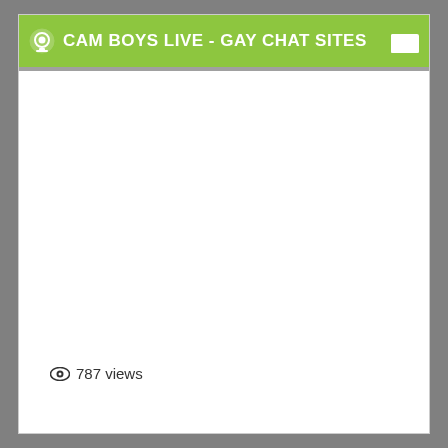CAM BOYS LIVE - GAY CHAT SITES
787 views